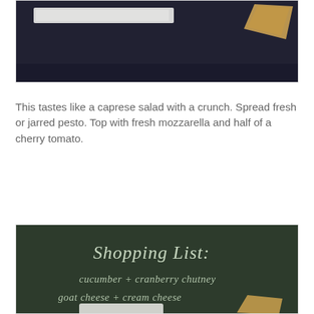[Figure (photo): Dark chalkboard background with food items including a white rectangular plate/tray and a triangular chip/cracker in the upper right corner on a dark background.]
This tastes like a caprese salad with a crunch. Spread fresh or jarred pesto. Top with fresh mozzarella and half of a cherry tomato.
[Figure (photo): Dark chalkboard with handwritten white chalk text reading 'Shopping List:' at top, followed by 'cucumber + cranberry chutney' and 'goat cheese + cream cheese', with a white plate with food items and a triangular cracker visible at the bottom.]